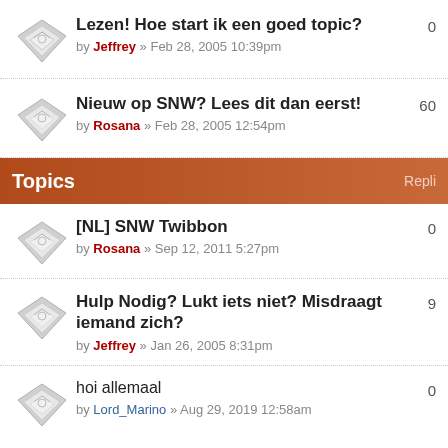Lezen! Hoe start ik een goed topic?
by Jeffrey » Feb 28, 2005 10:39pm
Replies: 0
Nieuw op SNW? Lees dit dan eerst!
by Rosana » Feb 28, 2005 12:54pm
Replies: 60
Topics | Repli
[NL] SNW Twibbon
by Rosana » Sep 12, 2011 5:27pm
Replies: 0
Hulp Nodig? Lukt iets niet? Misdraagt iemand zich?
by Jeffrey » Jan 26, 2005 8:31pm
Replies: 9
hoi allemaal
by Lord_Marino » Aug 29, 2019 12:58am
Replies: 0